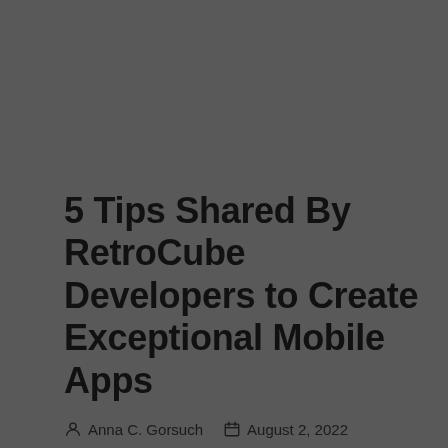5 Tips Shared By RetroCube Developers to Create Exceptional Mobile Apps
Anna C. Gorsuch   August 2, 2022
SEO
Successful apps such as Candy Crush, Pokémon Go, Google Maps, Angry Birds, etc., take space in many mobile phones. They used to be on trends...